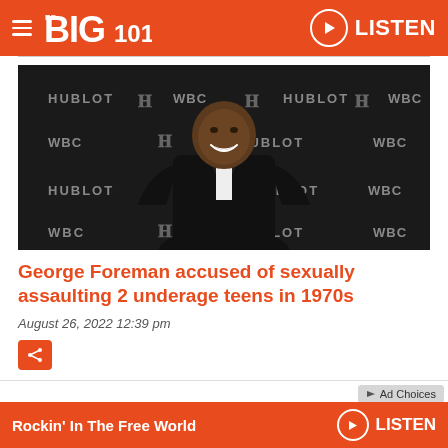BIG 101.1 — LISTEN
[Figure (photo): George Foreman in a black tuxedo with bow tie, smiling in front of a dark backdrop with HUBLOT and WBC logos repeated across it.]
George Foreman accused of sexually assaulting 2 underage teens in 1970s
August 26, 2022  12:39 pm
Rockin' In The Free World — LISTEN